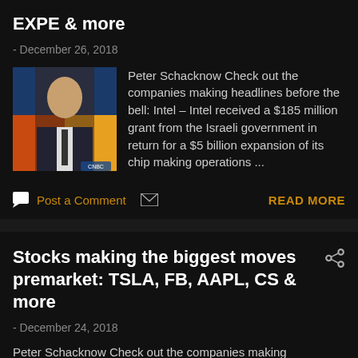EXPE & more
- December 26, 2018
Peter Schacknow Check out the companies making headlines before the bell: Intel – Intel received a $185 million grant from the Israeli government in return for a $5 billion expansion of its chip making operations ...
Post a Comment   READ MORE
Stocks making the biggest moves premarket: TSLA, FB, AAPL, CS & more
- December 24, 2018
Peter Schacknow Check out the companies making